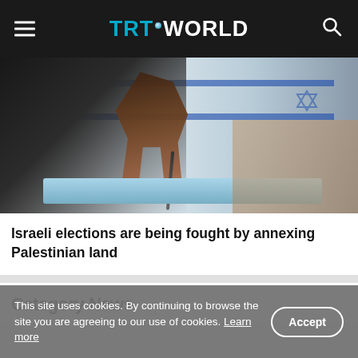TRT WORLD
[Figure (photo): Hand inserting a ballot into a blue ballot box, with an Israeli flag visible in the background.]
Israeli elections are being fought by annexing Palestinian land
Category News
This site uses cookies. By continuing to browse the site you are agreeing to our use of cookies. Learn more